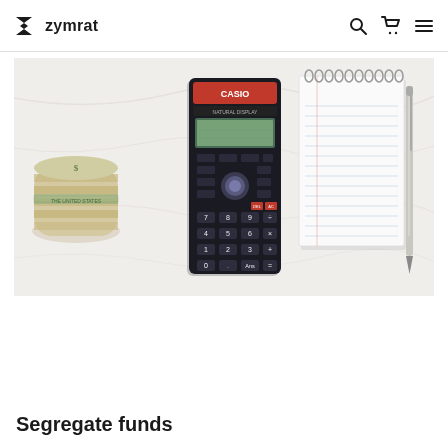zymrat
[Figure (photo): Flat lay photograph on a white marble surface showing a rolled bundle of US dollar bills on the left, a Casio scientific calculator in the center, a spiral-bound lined notepad on the right, and a silver pen beside the notepad.]
Segregate funds